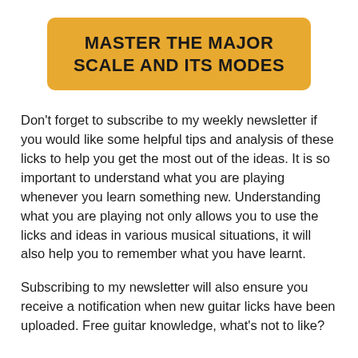MASTER THE MAJOR SCALE AND ITS MODES
Don't forget to subscribe to my weekly newsletter if you would like some helpful tips and analysis of these licks to help you get the most out of the ideas. It is so important to understand what you are playing whenever you learn something new. Understanding what you are playing not only allows you to use the licks and ideas in various musical situations, it will also help you to remember what you have learnt.
Subscribing to my newsletter will also ensure you receive a notification when new guitar licks have been uploaded. Free guitar knowledge, what's not to like?